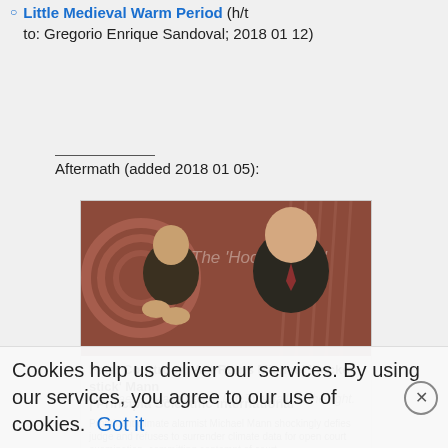Little Medieval Warm Period (h/t to: Gregorio Enrique Sandoval; 2018 01 12)
Aftermath (added 2018 01 05):
[Figure (screenshot): Screenshot of a news article card: 'Fatal Courtroom Act Ruins Michael hockey stick Mann | Principia Scientific International' with a photo of two men (Michael E. Mann on the left, Tim Ball on the right) against a background showing 'The Hockey Stick' text. Description: 'Prominent climate alarmist Michael Mann shockingly defies judge and refuses to surrender climate data for open court examination, committing contempt of court.' URL: PRINCIPIA-SCIENTIFIC.ORG]
Michael E. Mann on the left, Tim Ball on the right.
Cookies help us deliver our services. By using our services, you agree to our use of cookies. Got it